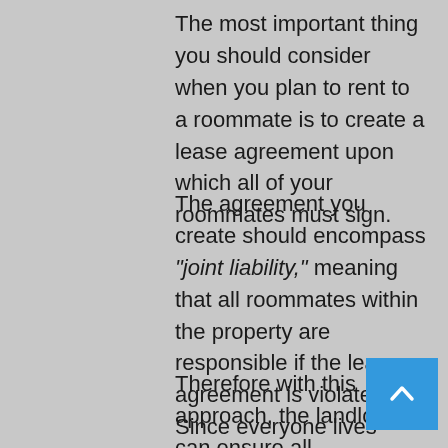The most important thing you should consider when you plan to rent to a roommate is to create a lease agreement upon which all of your roommates must sign.
The agreement you create should encompass "joint liability," meaning that all roommates within the property are responsible if the lease agreement is violated. Since everyone lives under the same roof, it is hard to identify when one individual violates the agreement.
Therefore with this approach, the landlord can ensure all roommates hold each other accountable for their actions because all parties will be held responsible. Having a lease agreement
[Figure (other): Blue square scroll-to-top button with a white chevron/caret pointing upward]